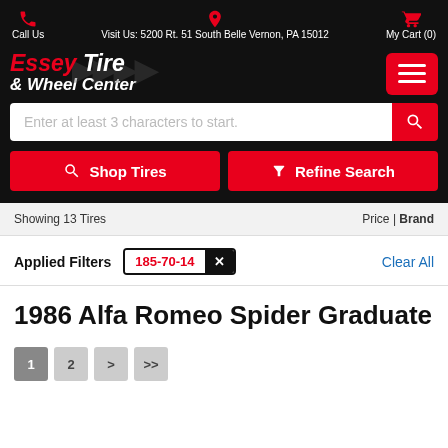Call Us | Visit Us: 5200 Rt. 51 South Belle Vernon, PA 15012 | My Cart (0)
[Figure (logo): Essey Tire & Wheel Center logo with red and white italic text on black background, with chevron pattern]
Enter at least 3 characters to start.
Shop Tires
Refine Search
Showing 13 Tires
Price | Brand
Applied Filters  185-70-14  ×  Clear All
1986 Alfa Romeo Spider Graduate
1  2  >  >>